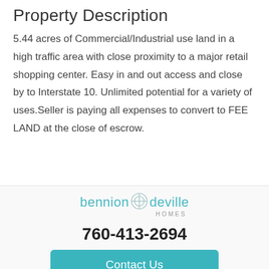Property Description
5.44 acres of Commercial/Industrial use land in a high traffic area with close proximity to a major retail shopping center. Easy in and out access and close by to Interstate 10. Unlimited potential for a variety of uses.Seller is paying all expenses to convert to FEE LAND at the close of escrow.
[Figure (logo): Bennion Deville Homes logo with teal text and circular BD icon]
760-413-2694
Contact Us
Schedule Showing